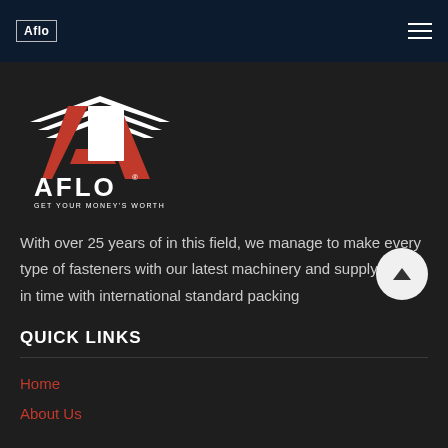Aflo [logo] [hamburger menu]
[Figure (logo): AFLO logo — red diagonal A with wings/chevron above, white block letter A overlapping, text AFLO in bold white, tagline GET YOUR MONEY'S WORTH in small white text below]
With over 25 years of in this field, we manage to make every type of fasteners with our latest machinery and supply goods in time with international standard packing
QUICK LINKS
Home
About Us